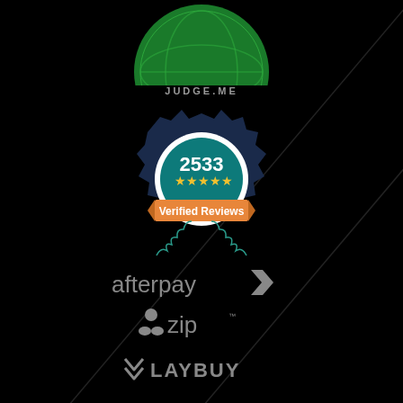[Figure (logo): Green circular badge/seal with text 'OWNED & STOCKED' in yellow, partially cropped at top]
[Figure (logo): Judge.me verified reviews badge: dark navy gear/badge shape with teal ribbon, showing '2533' in white text, 5 yellow stars, and orange banner reading 'Verified Reviews', with JUDGE.ME text above and teal laurel wreath below]
[Figure (logo): Afterpay logo in gray]
[Figure (logo): Zip logo in gray]
[Figure (logo): Laybuy logo in gray with heart/chevron icon]